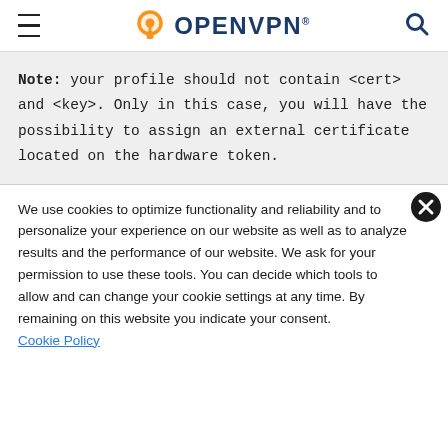OpenVPN (logo header with hamburger menu and search icon)
Note: your profile should not contain <cert> and <key>. Only in this case, you will have the possibility to assign an external certificate located on the hardware token.
We use cookies to optimize functionality and reliability and to personalize your experience on our website as well as to analyze results and the performance of our website. We ask for your permission to use these tools. You can decide which tools to allow and can change your cookie settings at any time. By remaining on this website you indicate your consent. Cookie Policy